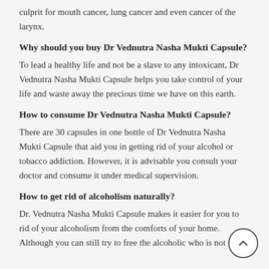culprit for mouth cancer, lung cancer and even cancer of the larynx.
Why should you buy Dr Vednutra Nasha Mukti Capsule?
To lead a healthy life and not be a slave to any intoxicant, Dr Vednutra Nasha Mukti Capsule helps you take control of your life and waste away the precious time we have on this earth.
How to consume Dr Vednutra Nasha Mukti Capsule?
There are 30 capsules in one bottle of Dr Vednutra Nasha Mukti Capsule that aid you in getting rid of your alcohol or tobacco addiction. However, it is advisable you consult your doctor and consume it under medical supervision.
How to get rid of alcoholism naturally?
Dr. Vednutra Nasha Mukti Capsule makes it easier for you to rid of your alcoholism from the comforts of your home. Although you can still try to free the alcoholic who is not self...